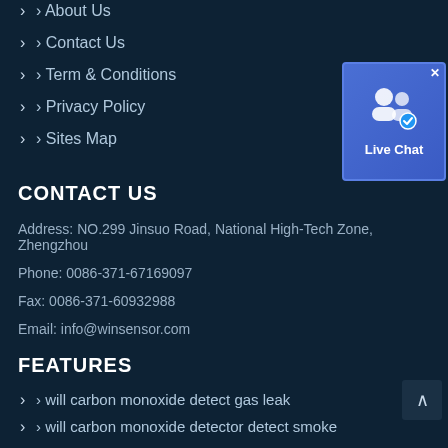About Us
Contact Us
Term & Conditions
Privacy Policy
Sites Map
[Figure (other): Live Chat widget button with user icons and blue background]
CONTACT US
Address: NO.299 Jinsuo Road, National High-Tech Zone, Zhengzhou
Phone: 0086-371-67169097
Fax: 0086-371-60932988
Email: info@winsensor.com
FEATURES
will carbon monoxide detect gas leak
will carbon monoxide detector detect smoke